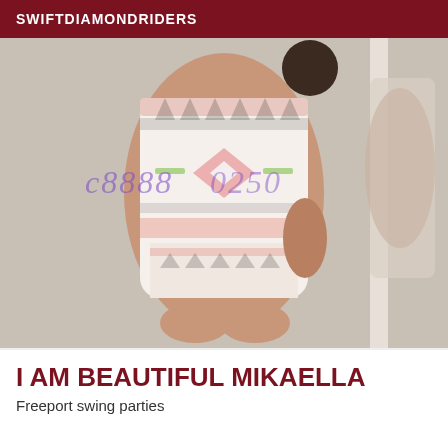SWIFTDIAMONDRIDERS
[Figure (photo): Photo of a person in a patterned bodycon dress, mirror selfie, with a purple watermark phone number overlaid]
I AM BEAUTIFUL MIKAELLA
Freeport swing parties